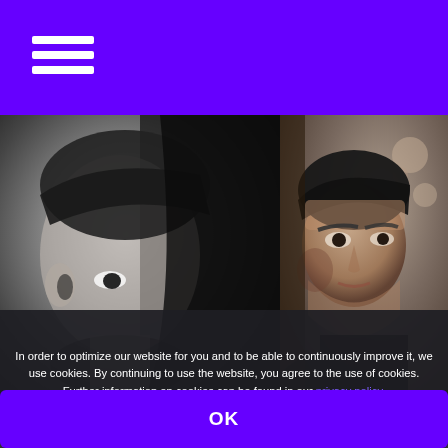Navigation menu with hamburger icon on purple header bar
[Figure (photo): Two side-by-side photos of young men: left photo is black and white showing a young man's face in dramatic lighting; right photo is color showing a young man with dark hair leaning against a wall]
In order to optimize our website for you and to be able to continuously improve it, we use cookies. By continuing to use the website, you agree to the use of cookies. Further information on cookies can be found in our privacy policy.
OK